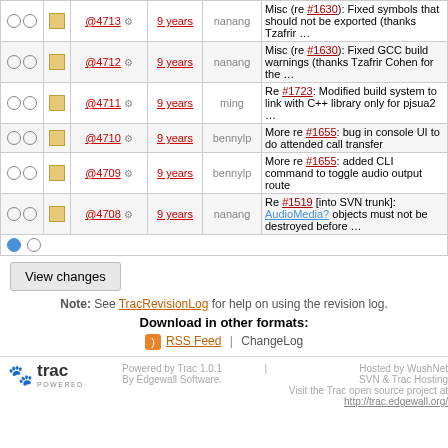|  |  | Rev | Age | Author | Log Message |
| --- | --- | --- | --- | --- | --- |
| ○ ○ | □ | @4713 ⚙ | 9 years | nanang | Misc (re #1630): Fixed symbols that should not be exported (thanks Tzafrir … |
| ○ ○ | □ | @4712 ⚙ | 9 years | nanang | Misc (re #1630): Fixed GCC build warnings (thanks Tzafrir Cohen for the … |
| ○ ○ | □ | @4711 ⚙ | 9 years | ming | Re #1723: Modified build system to link with C++ library only for pjsua2 … |
| ○ ○ | □ | @4710 ⚙ | 9 years | bennylp | More re #1655: bug in console UI to do attended call transfer |
| ○ ○ | □ | @4709 ⚙ | 9 years | bennylp | More re #1655: added CLI command to toggle audio output route |
| ○ ○ | □ | @4708 ⚙ | 9 years | nanang | Re #1519 [into SVN trunk]: AudioMedia? objects must not be destroyed before … |
Note: See TracRevisionLog for help on using the revision log.
Download in other formats:
RSS Feed | ChangeLog
Powered by Trac 1.0.1 By Edgewall Software. | Hosted by WushNet SVN & Trac Hosting Visit the Trac open source project at http://trac.edgewall.org/